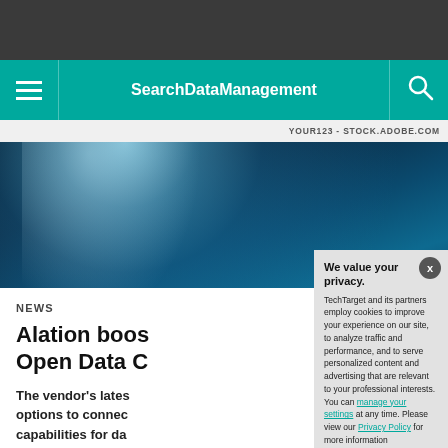SearchDataManagement
YOUR123 - STOCK.ADOBE.COM
[Figure (photo): Abstract digital technology background with blue light rays and data streams on dark background]
NEWS
Alation boos Open Data C
The vendor's lates options to connec capabilities for da
We value your privacy.
TechTarget and its partners employ cookies to improve your experience on our site, to analyze traffic and performance, and to serve personalized content and advertising that are relevant to your professional interests. You can manage your settings at any time. Please view our Privacy Policy for more information